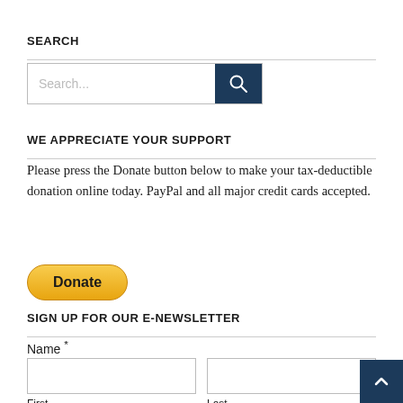SEARCH
[Figure (screenshot): Search input box with placeholder text 'Search...' and a dark blue search button with magnifying glass icon]
WE APPRECIATE YOUR SUPPORT
Please press the Donate button below to make your tax-deductible donation online today. PayPal and all major credit cards accepted.
[Figure (other): Yellow PayPal Donate button with rounded corners]
SIGN UP FOR OUR E-NEWSLETTER
Name *
First  Last